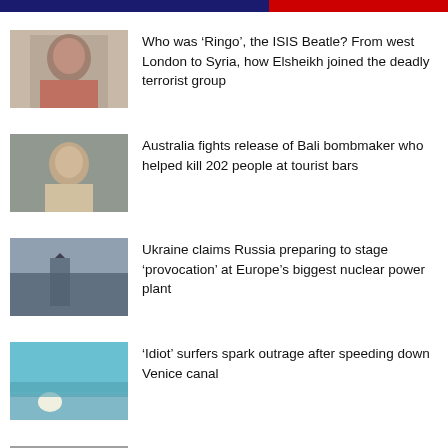[Figure (photo): News thumbnail of a man's face]
Who was ‘Ringo’, the ISIS Beatle? From west London to Syria, how Elsheikh joined the deadly terrorist group
[Figure (photo): News thumbnail of a smiling man]
Australia fights release of Bali bombmaker who helped kill 202 people at tourist bars
[Figure (photo): News thumbnail of a soldier near nuclear plant]
Ukraine claims Russia preparing to stage ‘provocation’ at Europe’s biggest nuclear power plant
[Figure (photo): News thumbnail of surfers on Venice canal]
‘Idiot’ surfers spark outrage after speeding down Venice canal
[Figure (photo): News thumbnail showing two men side by side]
Revealed: The breadcrumb trail that identified the IS ‘Beatles’